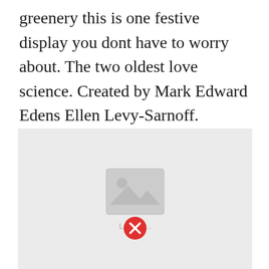greenery this is one festive display you dont have to worry about. The two oldest love science. Created by Mark Edward Edens Ellen Levy-Sarnoff. HttpbitlyH2vZUnLike us on FACEB. - Fly trap in a 2 pot.
[Figure (photo): Image placeholder with loading indicator and a red X close button at the bottom center. Gray background with a mountain/image icon and 'Loading..' text.]